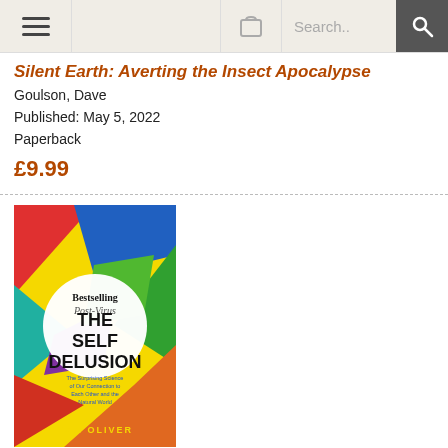[Navigation bar with hamburger menu, cart, search]
Silent Earth: Averting the Insect Apocalypse
Goulson, Dave
Published: May 5, 2022
Paperback
£9.99
[Figure (photo): Book cover of 'The Self Delusion: The Surprising Science of Our Connection to Each Other and the Natural World' by Tom Oliver. Features a colorful circular design with the title in the center and the author's name at the bottom.]
The Self Delusion : The Surprising Science of Our Connection to Each Other and the Natural World
Oliver, Tom
Published: January 21, 2021
Paperback
£9.99